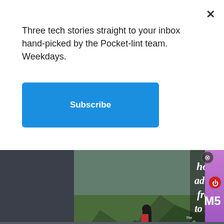Three tech stories straight to your inbox hand-picked by the Pocket-lint team. Weekdays.
Subscribe
[Figure (screenshot): Website screenshot showing a newsletter subscription popup over a dark website background. The popup has a close X button, text about tech stories, and a blue Subscribe button. Below is a dark background with two overlapping advertisements: one for 'The Gear Loop' showing a hiker on a mountain with text 'home of adventure from sea to summit', and another partially visible ad for Sony M5 headphones with a purple gradient background.]